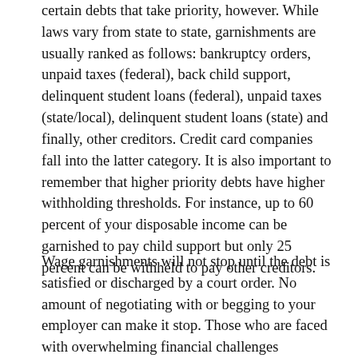certain debts that take priority, however. While laws vary from state to state, garnishments are usually ranked as follows: bankruptcy orders, unpaid taxes (federal), back child support, delinquent student loans (federal), unpaid taxes (state/local), delinquent student loans (state) and finally, other creditors. Credit card companies fall into the latter category. It is also important to remember that higher priority debts have higher withholding thresholds. For instance, up to 60 percent of your disposable income can be garnished to pay child support but only 25 percent can be withheld to pay other creditors.
Wage garnishments will not stop until the debt is satisfied or discharged by a court order. No amount of negotiating with or begging to your employer can make it stop. Those who are faced with overwhelming financial challenges including vehicle repossession, credit card debt and wage